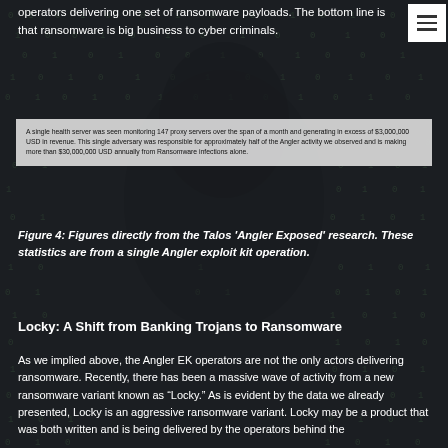operators delivering one set of ransomware payloads. The bottom line is that ransomware is big business to cyber criminals.
[Figure (screenshot): A quoted text box with light background reading: A single health server was seen monitoring 147 proxy servers over the span of a month and generating in excess of $3,000,000 USD in revenue. This single adversary was responsible for approximately half of the Angler activity we observed and is making more than $30,000,000 USD annually from Ransomware infections alone.]
Figure 4: Figures directly from the Talos 'Angler Exposed' research. These statistics are from a single Angler exploit kit operation.
Locky: A Shift from Banking Trojans to Ransomware
As we implied above, the Angler EK operators are not the only actors delivering ransomware. Recently, there has been a massive wave of activity from a new ransomware variant known as "Locky." As is evident by the data we already presented, Locky is an aggressive ransomware variant. Locky may be a product that was both written and is being delivered by the operators behind the